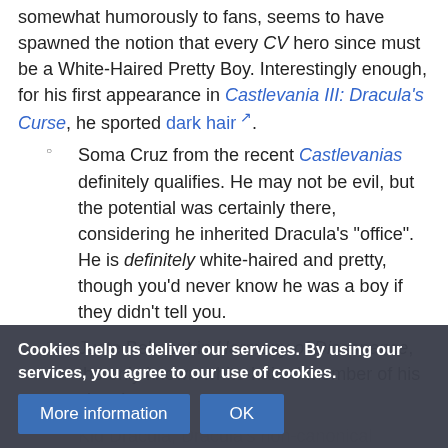somewhat humorously to fans, seems to have spawned the notion that every CV hero since must be a White-Haired Pretty Boy. Interestingly enough, for his first appearance in Castlevania III: Dracula's Curse, he sported dark hair.
Soma Cruz from the recent Castlevanias definitely qualifies. He may not be evil, but the potential was certainly there, considering he inherited Dracula's "office". He is definitely white-haired and pretty, though you'd never know he was a boy if they didn't tell you.
Juste Belmont in Harmony of Dissonance, the only known white-haired member of his clan. Let me
Kid Dracula, Dracula's non-canonical offspring, is a White-H...
Cookies help us deliver our services. By using our services, you agree to our use of cookies.